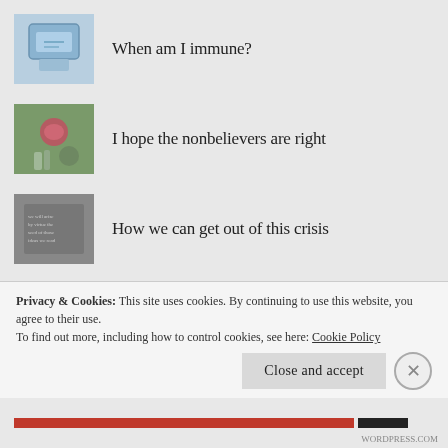When am I immune?
I hope the nonbelievers are right
How we can get out of this crisis
Why the Johnson and Johnson vaccine side effect is so worrisome
The virus is mutating!
Privacy & Cookies: This site uses cookies. By continuing to use this website, you agree to their use.
To find out more, including how to control cookies, see here: Cookie Policy